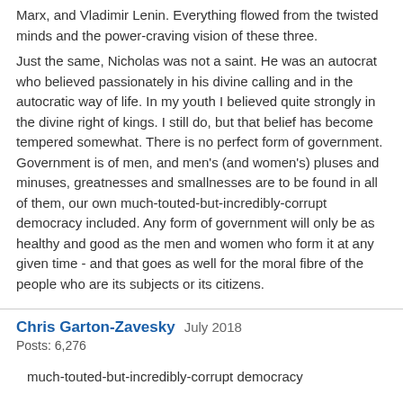Marx, and Vladimir Lenin. Everything flowed from the twisted minds and the power-craving vision of these three.
Just the same, Nicholas was not a saint. He was an autocrat who believed passionately in his divine calling and in the autocratic way of life. In my youth I believed quite strongly in the divine right of kings. I still do, but that belief has become tempered somewhat. There is no perfect form of government. Government is of men, and men's (and women's) pluses and minuses, greatnesses and smallnesses are to be found in all of them, our own much-touted-but-incredibly-corrupt democracy included. Any form of government will only be as healthy and good as the men and women who form it at any given time - and that goes as well for the moral fibre of the people who are its subjects or its citizens.
Chris Garton-Zavesky July 2018 Posts: 6,276
much-touted-but-incredibly-corrupt democracy
Indeed.
He was an autocrat who believed passionately in his divine calling and in the autocratic way of life